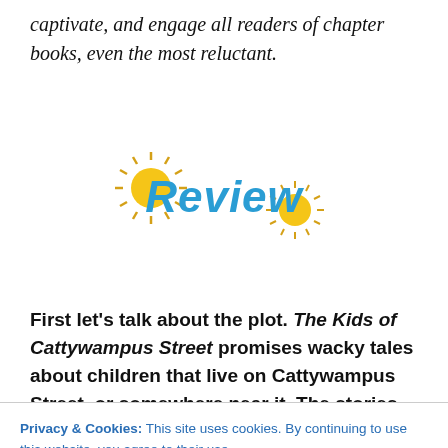captivate, and engage all readers of chapter books, even the most reluctant.
[Figure (logo): Review logo with sun graphics and blue italic bold 'Review' text, with yellow sun illustrations on left and right]
First let's talk about the plot. The Kids of Cattywampus Street promises wacky tales about children that live on Cattywampus Street, or somewhere near it. The stories are
Privacy & Cookies: This site uses cookies. By continuing to use this website, you agree to their use.
To find out more, including how to control cookies, see here: Cookie Policy